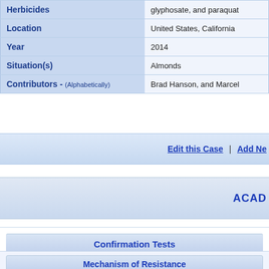| Field | Value |
| --- | --- |
| Herbicides | glyphosate, and paraquat |
| Location | United States, California |
| Year | 2014 |
| Situation(s) | Almonds |
| Contributors - (Alphabetically) | Brad Hanson, and Marcel |
Edit this Case | Add Ne
ACAD
Confirmation Tests
Greenhouse, and Laboratory trials comparing a known susceptible Horseweed biotype with this Horseweed biotype have been used to confirm resistance. For further information on the tests conducted please contact the local weed scientists that provided this information.
Mechanism of Resistance